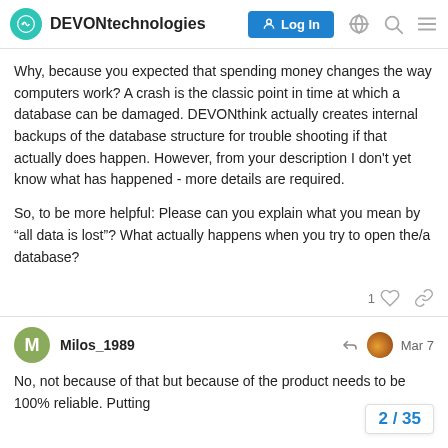DEVONtechnologies  Log In
Why, because you expected that spending money changes the way computers work? A crash is the classic point in time at which a database can be damaged. DEVONthink actually creates internal backups of the database structure for trouble shooting if that actually does happen. However, from your description I don't yet know what has happened - more details are required.
So, to be more helpful: Please can you explain what you mean by “all data is lost”? What actually happens when you try to open the/a database?
Milos_1989  Mar 7
No, not because of that but because of the product needs to be 100% reliable. Putting